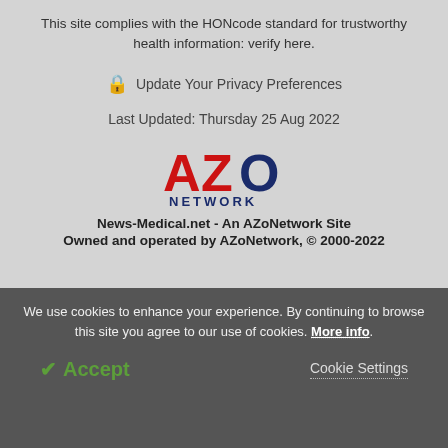This site complies with the HONcode standard for trustworthy health information: verify here.
Update Your Privacy Preferences
Last Updated: Thursday 25 Aug 2022
[Figure (logo): AZO NETWORK logo with red and blue lettering]
News-Medical.net - An AZoNetwork Site
Owned and operated by AZoNetwork, © 2000-2022
We use cookies to enhance your experience. By continuing to browse this site you agree to our use of cookies. More info.
✓ Accept
Cookie Settings